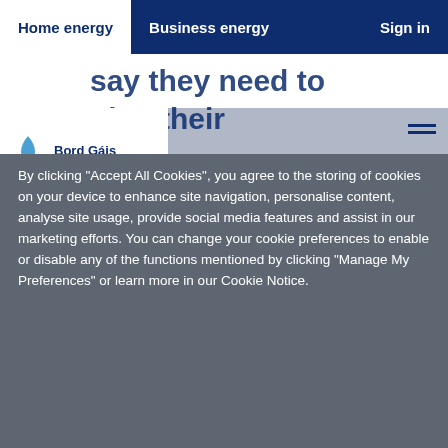Home energy | Business energy | Sign in
[Figure (screenshot): Bord Gáis Energy website header with logo, hero text partially visible, and hamburger menu icon]
By clicking "Accept All Cookies", you agree to the storing of cookies on your device to enhance site navigation, personalise content, analyse site usage, provide social media features and assist in our marketing efforts. You can change your cookie preferences to enable or disable any of the functions mentioned by clicking "Manage My Preferences" or learn more in our Cookie Notice.
Cookie Notice
Manage My Preferences
Accept All Cookies